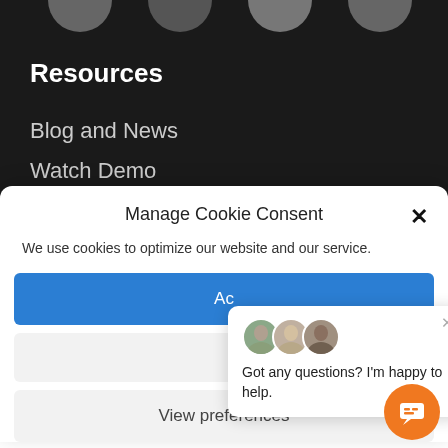[Figure (screenshot): Dark navigation background with partial circular avatar icons at top, Resources header, Blog and News and Watch Demo menu items]
Resources
Blog and News
Watch Demo
Manage Cookie Consent
We use cookies to optimize our website and our service.
Ac
View preferences
Got any questions? I'm happy to help.